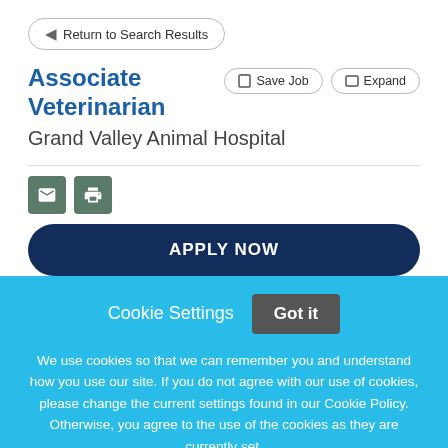Return to Search Results
Associate Veterinarian
Grand Valley Animal Hospital
APPLY NOW
Cookie Settings  Got it
We use cookies so that we can remember you and understand how you use our site. If you do not agree with our use of cookies, please change the current settings found in our Cookie Policy. Otherwise, you agree to the use of the cookies as they are currently set.